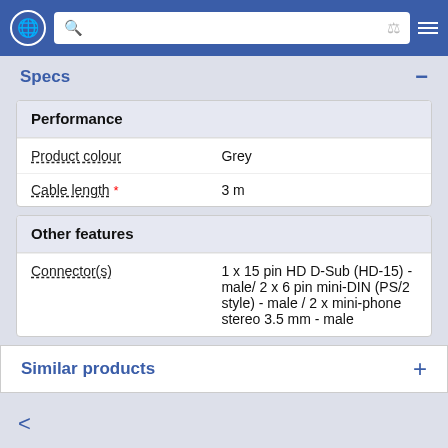Navigation bar with globe icon, search box, filter icon, menu icon
Specs
|  |  |
| --- | --- |
| Performance |  |
| Product colour | Grey |
| Cable length * | 3 m |
|  |  |
| --- | --- |
| Other features |  |
| Connector(s) | 1 x 15 pin HD D-Sub (HD-15) - male/ 2 x 6 pin mini-DIN (PS/2 style) - male / 2 x mini-phone stereo 3.5 mm - male |
Similar products
Share icon